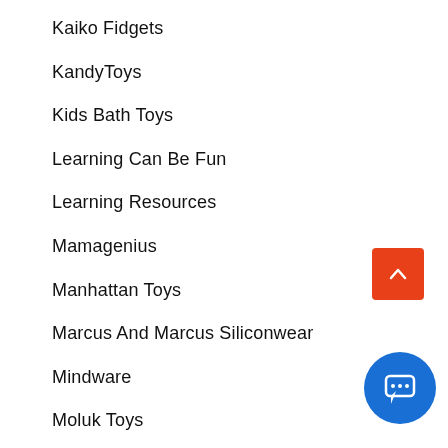Kaiko Fidgets
KandyToys
Kids Bath Toys
Learning Can Be Fun
Learning Resources
Mamagenius
Manhattan Toys
Marcus And Marcus Siliconwear
Mindware
Moluk Toys
Mud Puppy Puzzles And Games
Musical Instruments